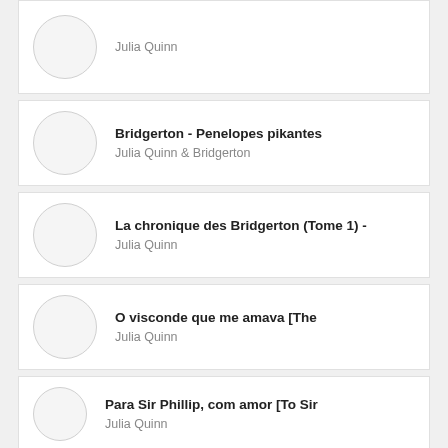Julia Quinn
Bridgerton - Penelopes pikantes
Julia Quinn & Bridgerton
La chronique des Bridgerton (Tome 1) -
Julia Quinn
O visconde que me amava [The
Julia Quinn
Para Sir Phillip, com amor [To Sir
Julia Quinn